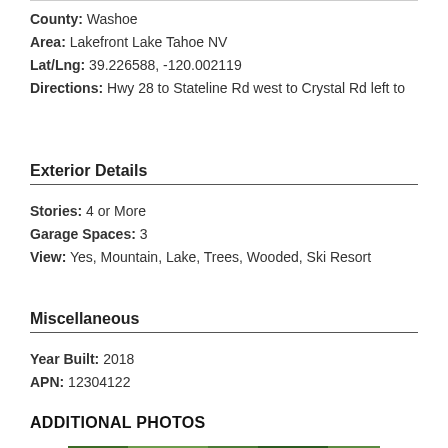County: Washoe
Area: Lakefront Lake Tahoe NV
Lat/Lng: 39.226588, -120.002119
Directions: Hwy 28 to Stateline Rd west to Crystal Rd left to
Exterior Details
Stories: 4 or More
Garage Spaces: 3
View: Yes, Mountain, Lake, Trees, Wooded, Ski Resort
Miscellaneous
Year Built: 2018
APN: 12304122
ADDITIONAL PHOTOS
[Figure (photo): Exterior aerial/landscape photo of property surrounded by trees]